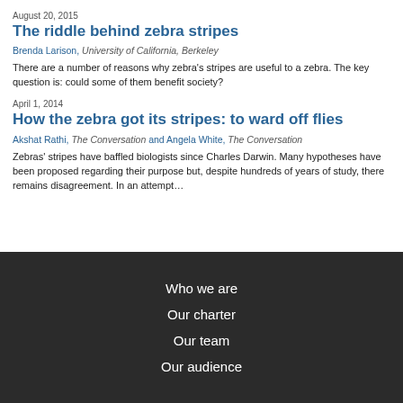August 20, 2015
The riddle behind zebra stripes
Brenda Larison, University of California, Berkeley
There are a number of reasons why zebra's stripes are useful to a zebra. The key question is: could some of them benefit society?
April 1, 2014
How the zebra got its stripes: to ward off flies
Akshat Rathi, The Conversation and Angela White, The Conversation
Zebras' stripes have baffled biologists since Charles Darwin. Many hypotheses have been proposed regarding their purpose but, despite hundreds of years of study, there remains disagreement. In an attempt…
Who we are
Our charter
Our team
Our audience